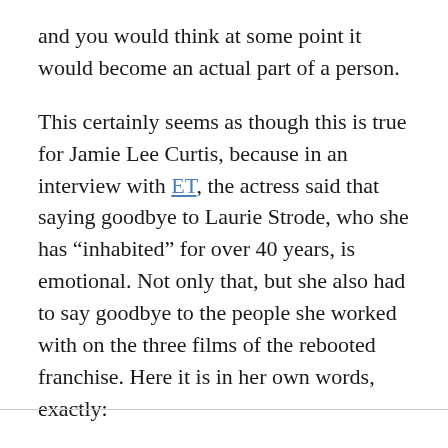and you would think at some point it would become an actual part of a person.
This certainly seems as though this is true for Jamie Lee Curtis, because in an interview with ET, the actress said that saying goodbye to Laurie Strode, who she has “inhabited” for over 40 years, is emotional. Not only that, but she also had to say goodbye to the people she worked with on the three films of the rebooted franchise. Here it is in her own words, exactly: